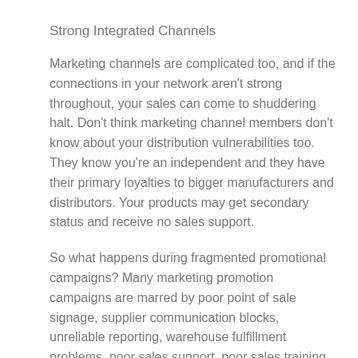Strong Integrated Channels
Marketing channels are complicated too, and if the connections in your network aren't strong throughout, your sales can come to shuddering halt. Don't think marketing channel members don't know about your distribution vulnerabilities too. They know you're an independent and they have their primary loyalties to bigger manufacturers and distributors. Your products may get secondary status and receive no sales support.
So what happens during fragmented promotional campaigns? Many marketing promotion campaigns are marred by poor point of sale signage, supplier communication blocks, unreliable reporting, warehouse fulfillment problems, poor sales support, poor sales training, along with high costs and outdated technology.